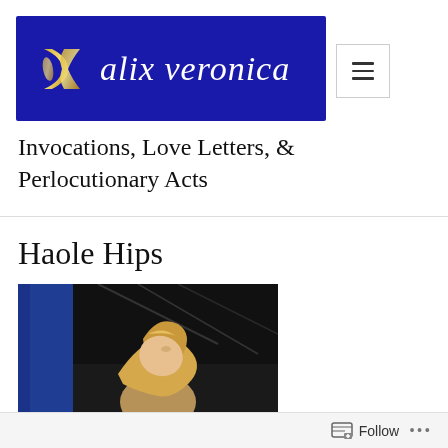[Figure (logo): Alix Veronica blog logo: dark navy/blue banner with a gold stylized K emblem on the left and cursive white script text reading 'alix veronica' on the right]
Invocations, Love Letters, & Perlocutionary Acts
Haole Hips
[Figure (photo): A person with long blonde hair tilting their head back, photographed from below against a dark background with a blue curtain visible on the left and what appears to be stage rigging above]
Follow